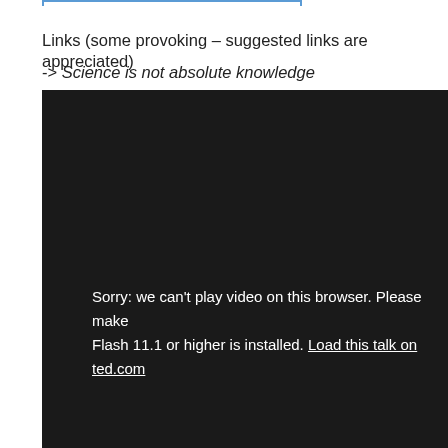Links (some provoking – suggested links are appreciated)
-> Science is not absolute knowledge
[Figure (screenshot): Black video player box showing error message: 'Sorry: we can't play video on this browser. Please make sure Flash 11.1 or higher is installed. Load this talk on ted.com']